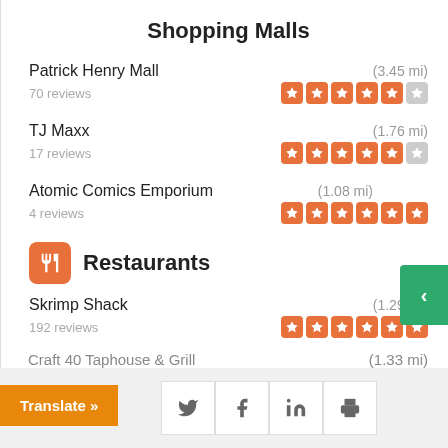Shopping Malls
Patrick Henry Mall (3.45 mi) · 70 reviews · 4.5 stars
TJ Maxx (1.76 mi) · 17 reviews · 4.5 stars
Atomic Comics Emporium (1.08 mi) · 4 reviews · 5.5 stars
Restaurants
Skrimp Shack (1.29 mi) · 192 reviews · 5.5 stars
Craft 40 Taphouse & Grill (1.33 mi)
Translate » [Twitter] [Facebook] [LinkedIn] [Print]